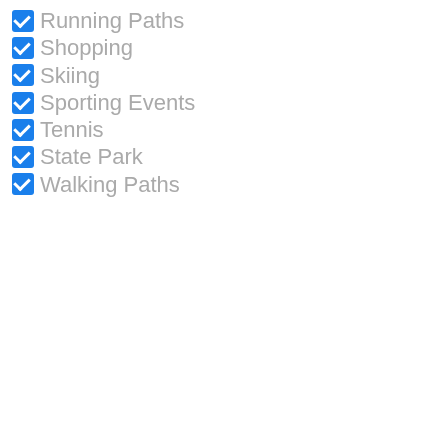Running Paths
Shopping
Skiing
Sporting Events
Tennis
State Park
Walking Paths